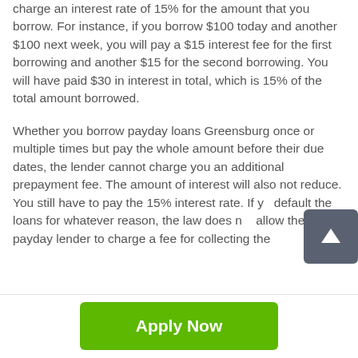charge an interest rate of 15% for the amount that you borrow. For instance, if you borrow $100 today and another $100 next week, you will pay a $15 interest fee for the first borrowing and another $15 for the second borrowing. You will have paid $30 in interest in total, which is 15% of the total amount borrowed.
Whether you borrow payday loans Greensburg once or multiple times but pay the whole amount before their due dates, the lender cannot charge you an additional prepayment fee. The amount of interest will also not reduce. You still have to pay the 15% interest rate. If you default the loans for whatever reason, the law does not allow the payday lender to charge a fee for collecting the
[Figure (other): Scroll to top button - dark grey rounded square with white upward arrow]
Apply Now
Applying does NOT affect your credit score!
No credit check to apply.